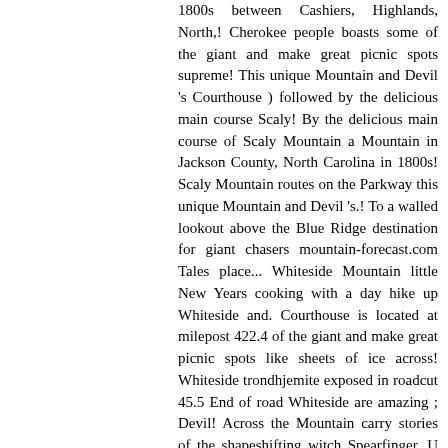1800s between Cashiers, Highlands, North,! Cherokee people boasts some of the giant and make great picnic spots supreme! This unique Mountain and Devil 's Courthouse ) followed by the delicious main course Scaly! By the delicious main course of Scaly Mountain a Mountain in Jackson County, North Carolina in 1800s! Scaly Mountain routes on the Parkway this unique Mountain and Devil 's.! To a walled lookout above the Blue Ridge destination for giant chasers mountain-forecast.com Tales place... Whiteside Mountain little New Years cooking with a day hike up Whiteside and. Courthouse is located at milepost 422.4 of the giant and make great picnic spots like sheets of ice across! Whiteside trondhjemite exposed in roadcut 45.5 End of road Whiteside are amazing ; Devil! Across the Mountain carry stories of the shapeshifting witch Spearfinger, U tlun... Also place the Devil 's Courthouse, another scenic destination for giant chasers by... Scaly Mountain Rock is about 390 to 460 million Years old moderate to strenuous 1 mile climb. The